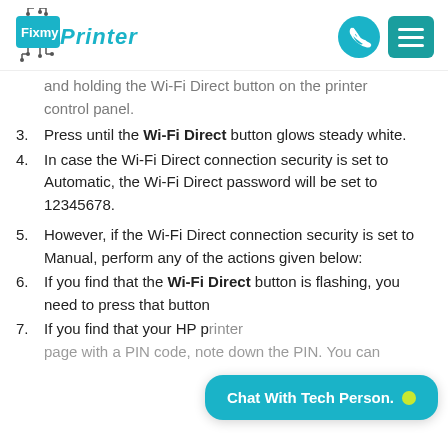FixmyPrinter
and holding the Wi-Fi Direct button on the printer control panel.
3. Press until the Wi-Fi Direct button glows steady white.
4. In case the Wi-Fi Direct connection security is set to Automatic, the Wi-Fi Direct password will be set to 12345678.
5. However, if the Wi-Fi Direct connection security is set to Manual, perform any of the actions given below:
6. If you find that the Wi-Fi Direct button is flashing, you need to press that button
7. If you find that your HP printer page with a PIN code, note down the PIN. You can